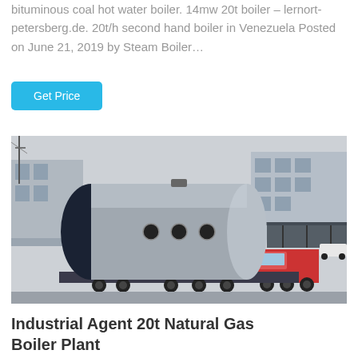bituminous coal hot water boiler. 14mw 20t boiler – lernort-petersberg.de. 20t/h second hand boiler in Venezuela Posted on June 21, 2019 by Steam Boiler…
Get Price
[Figure (photo): A large industrial boiler mounted horizontally on a flatbed truck trailer in an industrial yard, with factory buildings and a covered parking structure visible in the background.]
Industrial Agent 20t Natural Gas Boiler Plant